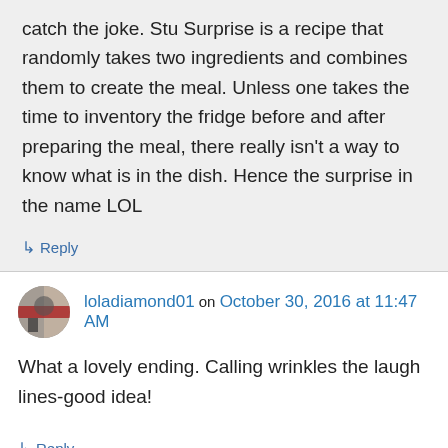catch the joke. Stu Surprise is a recipe that randomly takes two ingredients and combines them to create the meal. Unless one takes the time to inventory the fridge before and after preparing the meal, there really isn't a way to know what is in the dish. Hence the surprise in the name LOL
↳ Reply
loladiamond01 on October 30, 2016 at 11:47 AM
What a lovely ending. Calling wrinkles the laugh lines-good idea!
↳ Reply